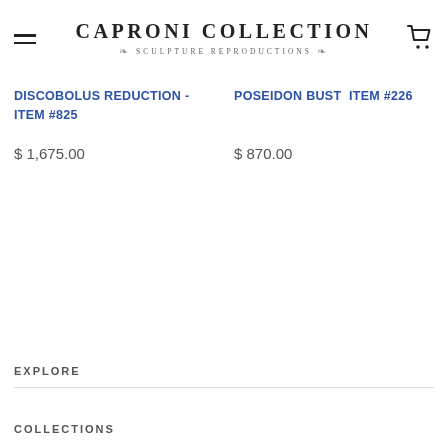Caproni Collection Sculpture Reproductions
DISCOBOLUS REDUCTION - ITEM #825
POSEIDON BUST  ITEM #226
$ 1,675.00
$ 870.00
EXPLORE
COLLECTIONS